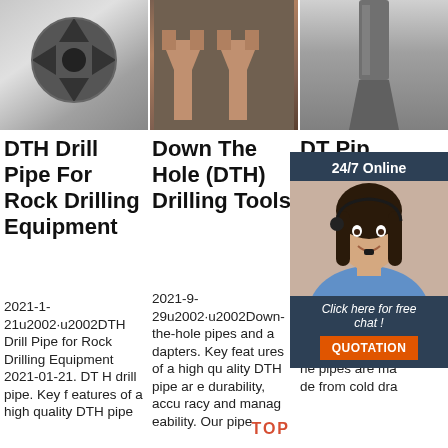[Figure (photo): Three product photos in a row: left shows a DTH drill bit (dark metal, cross-shaped cutter), center shows two Y-shaped components (copper/brown color), right shows a narrow chisel or blade tool (dark metal)]
DTH Drill Pipe For Rock Drilling Equipment
2021-1-21u2002·u2002DTH Drill Pipe for Rock Drilling Equipment 2021-01-21. DTH drill pipe. Key features of a high quality DTH pipe
Down The Hole (DTH) Drilling Tools
2021-9-29u2002·u2002Down-the-hole pipes and adapters. Key features of a high quality DTH pipe are durability, accuracy and manageability. Our pipe
DT Pip Ro Eq
DTH ey f high pipe are durability, accuracy and manageability. T he pipes are made from cold dra
[Figure (infographic): 24/7 Online chat widget with dark blue background, showing a female customer service agent with headset and text 'Click here for free chat!' and orange QUOTATION button]